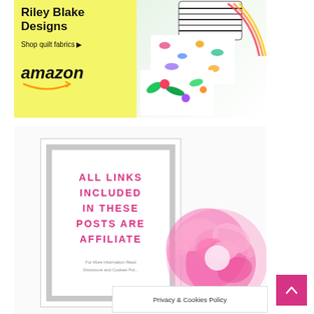[Figure (illustration): Riley Blake Designs advertisement banner on Amazon with yellow background, text 'Riley Blake Designs', 'Shop quilt fabrics', Amazon logo, and colorful fabric swatches photo on the right]
[Figure (illustration): White framed sign reading 'ALL LINKS INCLUDED IN THESE POSTS ARE AFFILIATE' in bold pink uppercase text, with pink peony flower beside it and partial text 'For More Information Read Disclosure and Cookies Pol...' at bottom]
Privacy & Cookies Policy